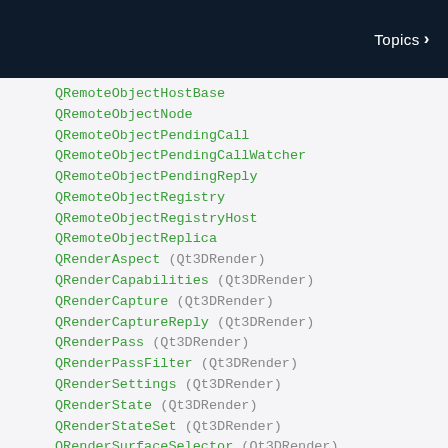Topics >
QRemoteObjectHostBase
QRemoteObjectNode
QRemoteObjectPendingCall
QRemoteObjectPendingCallWatcher
QRemoteObjectPendingReply
QRemoteObjectRegistry
QRemoteObjectRegistryHost
QRemoteObjectReplica
QRenderAspect (Qt3DRender)
QRenderCapabilities (Qt3DRender)
QRenderCapture (Qt3DRender)
QRenderCaptureReply (Qt3DRender)
QRenderPass (Qt3DRender)
QRenderPassFilter (Qt3DRender)
QRenderSettings (Qt3DRender)
QRenderState (Qt3DRender)
QRenderStateSet (Qt3DRender)
QRenderSurfaceSelector (Qt3DRender)
QRenderTarget (Qt3DRender)
QRenderTargetOutput (Qt3DRender)
QRenderTargetSelector (Qt3DRender)
QResizeEvent
QResource